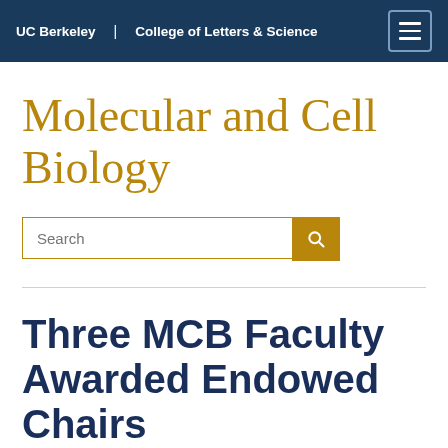UC Berkeley | College of Letters & Science
Molecular and Cell Biology
Search
Three MCB Faculty Awarded Endowed Chairs